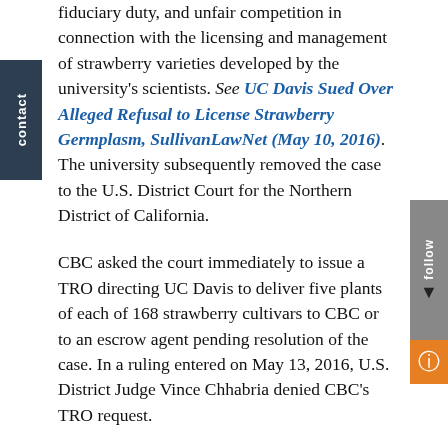fiduciary duty, and unfair competition in connection with the licensing and management of strawberry varieties developed by the university's scientists. See UC Davis Sued Over Alleged Refusal to License Strawberry Germplasm, SullivanLawNet (May 10, 2016). The university subsequently removed the case to the U.S. District Court for the Northern District of California.
CBC asked the court immediately to issue a TRO directing UC Davis to deliver five plants of each of 168 strawberry cultivars to CBC or to an escrow agent pending resolution of the case. In a ruling entered on May 13, 2016, U.S. District Judge Vince Chhabria denied CBC's TRO request.
Judge Chhabria did not rule definitively on the merits of CBC's claims. Instead, for the following reasons, he determined that the balance of equities weighed against granting what the university's scientists...